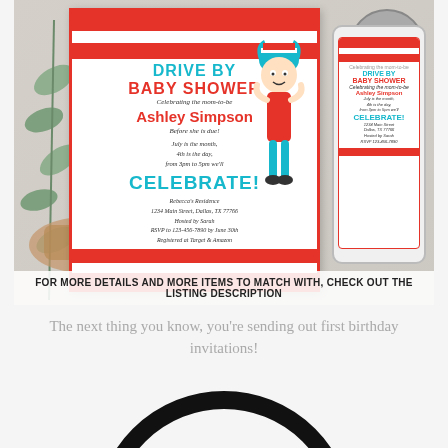[Figure (illustration): A Dr. Seuss themed 'Drive By Baby Shower' invitation for Ashley Simpson, showing a printed card with red and white stripes, teal text, and a Thing 1/Thing 2 character, alongside a phone mockup showing the same design, placed on a wooden surface with eucalyptus leaves. An 'Instant Download - Print Today!' badge appears in the top right.]
For more details and more items to match with, check out the listing description
The next thing you know, you're sending out first birthday invitations!
[Figure (photo): A circular monogram or logo in black, showing stylized cursive letters, cropped to show only the top portion of the circle and letters.]